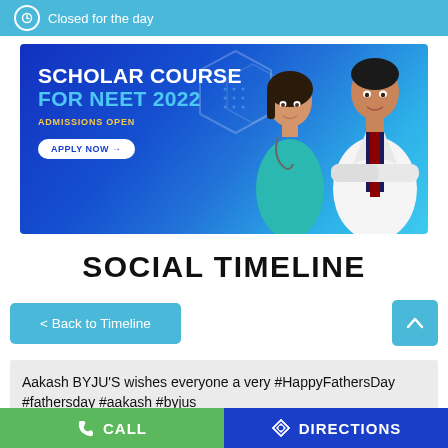Closed for the day
[Figure (illustration): Scholar Course for NEET 2022 advertisement banner with two medical students/doctors and text: SCHOLAR COURSE FOR NEET 2022 ADMISSIONS OPEN, APPLY NOW button]
SOCIAL TIMELINE
< Back to Timeline
Aakash BYJU'S wishes everyone a very #HappyFathersDay #fathersday #aakash #byjus
CALL   DIRECTIONS